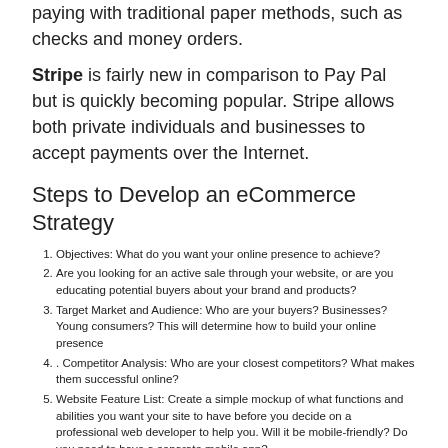paying with traditional paper methods, such as checks and money orders.
Stripe is fairly new in comparison to Pay Pal but is quickly becoming popular. Stripe allows both private individuals and businesses to accept payments over the Internet.
Steps to Develop an eCommerce Strategy
Objectives: What do you want your online presence to achieve?
Are you looking for an active sale through your website, or are you educating potential buyers about your brand and products?
Target Market and Audience: Who are your buyers? Businesses? Young consumers? This will determine how to build your online presence
. Competitor Analysis: Who are your closest competitors? What makes them successful online?
Website Feature List: Create a simple mockup of what functions and abilities you want your site to have before you decide on a professional web developer to help you. Will it be mobile-friendly? Do you need to have a separate mobile app?
Choose the Right Channel Mix: Select the best eCommerce sales channels to pursue sales in your target market(s) so that consumers can easily find your company and products and learn about your company.
Communicating with customers